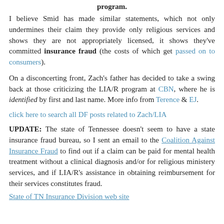program.
I believe Smid has made similar statements, which not only undermines their claim they provide only religious services and shows they are not appropriately licensed, it shows they've committed insurance fraud (the costs of which get passed on to consumers).
On a disconcerting front, Zach's father has decided to take a swing back at those criticizing the LIA/R program at CBN, where he is identified by first and last name. More info from Terence & EJ.
click here to search all DF posts related to Zach/LIA
UPDATE: The state of Tennessee doesn't seem to have a state insurance fraud bureau, so I sent an email to the Coalition Against Insurance Fraud to find out if a claim can be paid for mental health treatment without a clinical diagnosis and/or for religious ministery services, and if LIA/R's assistance in obtaining reimbursement for their services constitutes fraud.
State of TN Insurance Division web site